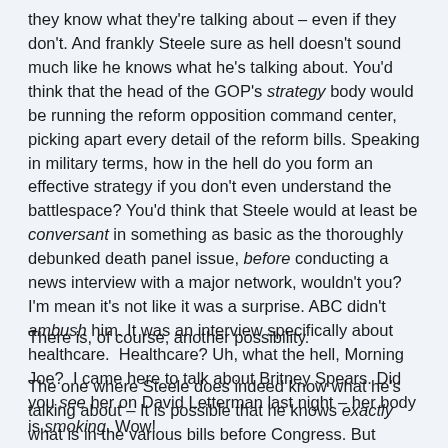they know what they're talking about – even if they don't. And frankly Steele sure as hell doesn't sound much like he knows what he's talking about. You'd think that the head of the GOP's strategy body would be running the reform opposition command center, picking apart every detail of the reform bills. Speaking in military terms, how in the hell do you form an effective strategy if you don't even understand the battlespace? You'd think that Steele would at least be conversant in something as basic as the thoroughly debunked death panel issue, before conducting a news interview with a major network, wouldn't you?  I'm mean it's not like it was a surprise. ABC didn't ambush him. It was an interview specifically about healthcare.  Healthcare? Uh, what the hell, Morning Joe?  I came here to talk about Britney Spears. Did you see her on David Letterman last night – her body is smoking. Wow!
There is, of course, another possibility.
The one where Steele does indeed know what he's talking about – It is possible that he knows exactly what is in the various bills before Congress. But instead of saying so, he is deliberately fostering the fear, deliberately...